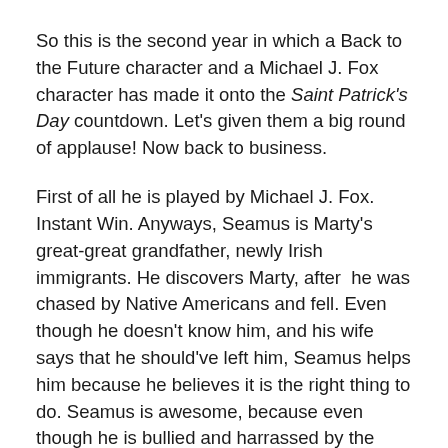So this is the second year in which a Back to the Future character and a Michael J. Fox character has made it onto the Saint Patrick's Day countdown. Let's given them a big round of applause! Now back to business.
First of all he is played by Michael J. Fox. Instant Win. Anyways, Seamus is Marty's great-great grandfather, newly Irish immigrants. He discovers Marty, after  he was chased by Native Americans and fell. Even though he doesn't know him, and his wife says that he should've left him, Seamus helps him because he believes it is the right thing to do. Seamus is awesome, because even though he is bullied and harrassed by the Tannen's he ignores it. Now that takes a lot of self-control and patience and fortitude to just ignore it and keep going. To be able to walk away from a fight because you know the issue is not